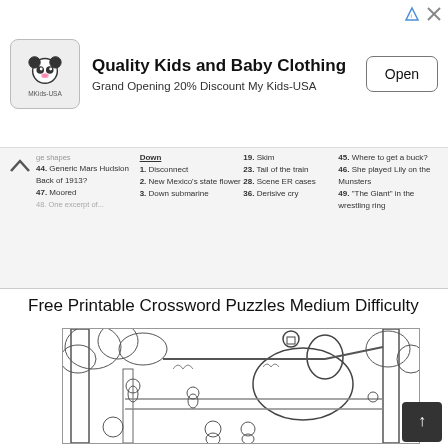[Figure (other): Advertisement banner for 'My Kids-USA' featuring a panda logo, text 'Quality Kids and Baby Clothing', 'Grand Opening 20% Discount My Kids-USA', and an 'Open' button]
[Figure (other): Partially visible crossword puzzle clue strip showing Across and Down clues including items 19, 23, 28, 36, 44, 45, 46, 47, 48, 49, Down 1, 2, 3]
Free Printable Crossword Puzzles Medium Difficulty
[Figure (illustration): Black and white line drawing coloring page showing animals including a horse, birds, and other creatures in a natural setting with trees]